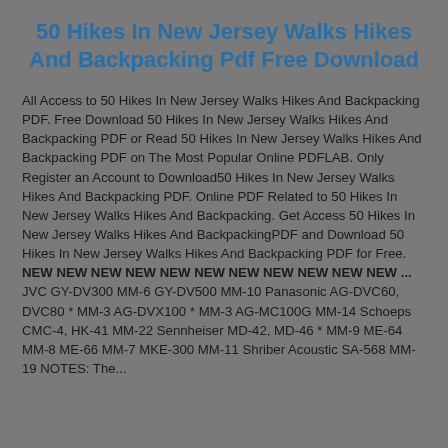50 Hikes In New Jersey Walks Hikes And Backpacking Pdf Free Download
All Access to 50 Hikes In New Jersey Walks Hikes And Backpacking PDF. Free Download 50 Hikes In New Jersey Walks Hikes And Backpacking PDF or Read 50 Hikes In New Jersey Walks Hikes And Backpacking PDF on The Most Popular Online PDFLAB. Only Register an Account to Download50 Hikes In New Jersey Walks Hikes And Backpacking PDF. Online PDF Related to 50 Hikes In New Jersey Walks Hikes And Backpacking. Get Access 50 Hikes In New Jersey Walks Hikes And BackpackingPDF and Download 50 Hikes In New Jersey Walks Hikes And Backpacking PDF for Free.
NEW NEW NEW NEW NEW NEW NEW NEW NEW NEW NEW ...
JVC GY-DV300 MM-6 GY-DV500 MM-10 Panasonic AG-DVC60, DVC80 * MM-3 AG-DVX100 * MM-3 AG-MC100G MM-14 Schoeps CMC-4, HK-41 MM-22 Sennheiser MD-42, MD-46 * MM-9 ME-64 MM-8 ME-66 MM-7 MKE-300 MM-11 Shriber Acoustic SA-568 MM-19 NOTES: The...